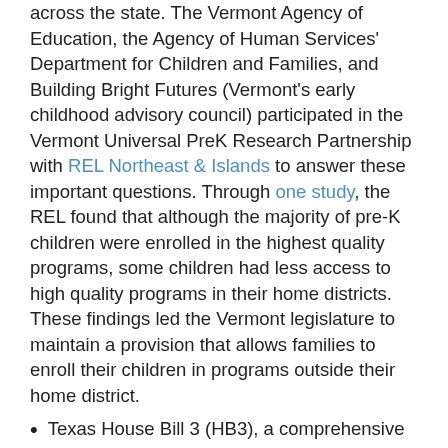across the state. The Vermont Agency of Education, the Agency of Human Services' Department for Children and Families, and Building Bright Futures (Vermont's early childhood advisory council) participated in the Vermont Universal PreK Research Partnership with REL Northeast & Islands to answer these important questions. Through one study, the REL found that although the majority of pre-K children were enrolled in the highest quality programs, some children had less access to high quality programs in their home districts. These findings led the Vermont legislature to maintain a provision that allows families to enroll their children in programs outside their home district.
Texas House Bill 3 (HB3), a comprehensive reform of the state's school finance system passed in 2019, established a college, career, and military readiness outcomes bonus, which provides extra funding to districts for each annual graduate demonstrating college, career, or military readiness under the state accountability system, based on the Texas...